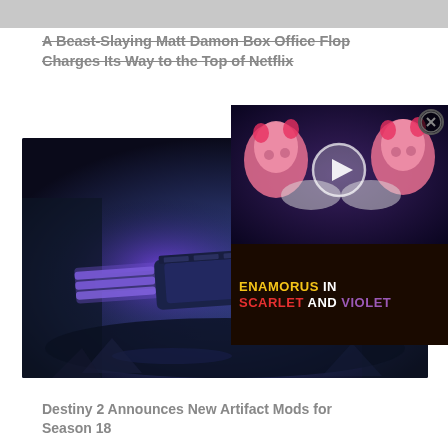[Figure (photo): Gray banner image strip at top of page]
A Beast-Slaying Matt Damon Box Office Flop Charges Its Way to the Top of Netflix
[Figure (photo): Destiny 2 game screenshot showing a futuristic weapon (rifle/launcher) glowing purple on a dark blue atmospheric background with rubble]
[Figure (other): Ad overlay for Enamorus in Scarlet and Violet Pokemon game, featuring pink cartoon creatures and a play button, with text ENAMORUS IN SCARLET AND VIOLET on dark background]
Destiny 2 Announces New Artifact Mods for Season 18